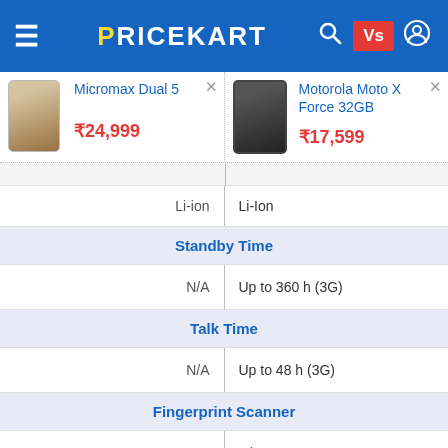PRICEKART — smartphone comparison page header with hamburger menu, search, Vs, and user icons
| Micromax Dual 5 | Motorola Moto X Force 32GB |
| --- | --- |
| ₹24,999 | ₹17,599 |
| Li-ion | Li-Ion |
| Standby Time | Standby Time |
| N/A | Up to 360 h (3G) |
| Talk Time | Talk Time |
| N/A | Up to 48 h (3G) |
| Fingerprint Scanner | Fingerprint Scanner |
| Yes | N/A |
| Waterproof | Waterproof |
| N/A | Yes |